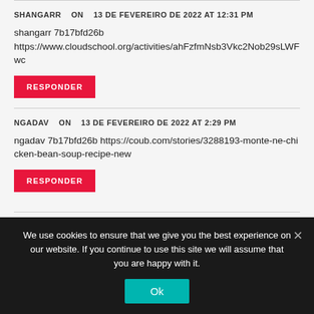SHANGARR   ON   13 DE FEVEREIRO DE 2022 AT 12:31 PM
shangarr 7b17bfd26b
https://www.cloudschool.org/activities/ahFzfmNsb3Vkc2Nob29sLWFwc...
RESPONDER
NGADAV   ON   13 DE FEVEREIRO DE 2022 AT 2:29 PM
ngadav 7b17bfd26b https://coub.com/stories/3288193-monte-ne-chicken-bean-soup-recipe-new
RESPONDER
We use cookies to ensure that we give you the best experience on our website. If you continue to use this site we will assume that you are happy with it.
Ok